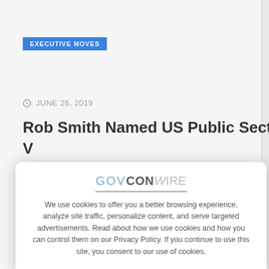EXECUTIVE MOVES
JUNE 26, 2019
Rob Smith Named US Public Sector Sales V[P...]
R[...] m[...] i[...]
[Figure (screenshot): Cookie consent modal dialog overlaying the GovConWire website. Contains GovConWire logo, cookie policy text, and an X close button.]